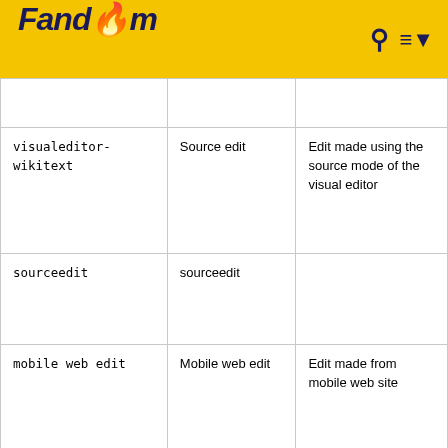Fandom
|  |  |  |
| --- | --- | --- |
|  |  |  |
| visualeditor-wikitext | Source edit | Edit made using the source mode of the visual editor |
| sourceedit | sourceedit |  |
| mobile web edit | Mobile web edit | Edit made from mobile web site |
| mobile edit | Mobile edit | Edit made from mobile (web or app) |